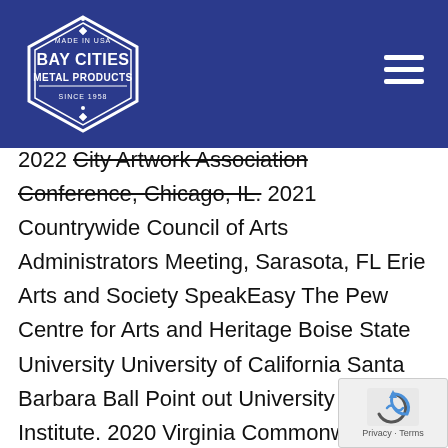Bay Cities Metal Products
2022 City Artwork Association Conference, Chicago, IL. 2021 Countrywide Council of Arts Administrators Meeting, Sarasota, FL Erie Arts and Society SpeakEasy The Pew Centre for Arts and Heritage Boise State University University of California Santa Barbara Ball Point out University Pratt Institute. 2020 Virginia Commonwealth University Brigham Youthful College University of Pennsylvania University of Montevallo Museum of Fantastic Arts at Florida State University Ringling School of Art and Structure Yale College College Art Association Meeting, Chicago, IL Syracuse University Columbia Higher education Chicago College of California San Diego College of the Art Institute of